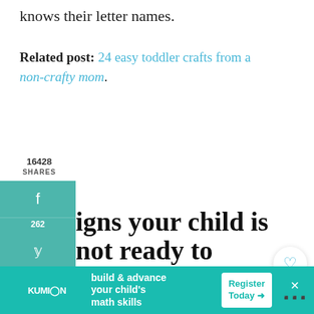knows their letter names.
Related post: 24 easy toddler crafts from a non-crafty mom.
igns your child is not ready to ead
e tried it when my oldest was 3.5 just fo n because that's how old my husband's little brother was when he started t successfully.  It was WAY too early for us
[Figure (screenshot): Social share sidebar with Facebook (262 shares), Twitter, Pinterest (16166), Reddit buttons in teal]
[Figure (screenshot): Heart/like button showing 16.5K and share button on right side]
[Figure (screenshot): What's Next panel showing 'Our Relaxed Kindergarte...' with book image]
[Figure (screenshot): Kumon advertisement banner: build & advance your child's math skills, Register Today]
16428 SHARES